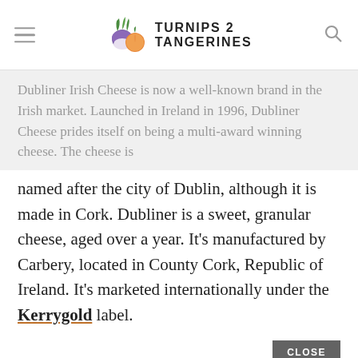TURNIPS 2 TANGERINES
Dubliner Irish Cheese is now a well-known brand in the Irish market. Launched in Ireland in 1996, Dubliner Cheese prides itself on being a multi-award winning cheese. The cheese is named after the city of Dublin, although it is made in Cork. Dubliner is a sweet, granular cheese, aged over a year. It’s manufactured by Carbery, located in County Cork, Republic of Ireland. It’s marketed internationally under the Kerrygold label.